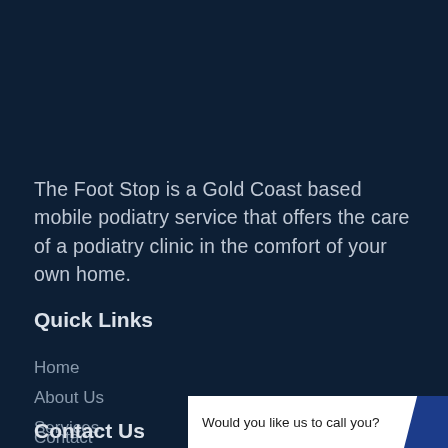The Foot Stop is a Gold Coast based mobile podiatry service that offers the care of a podiatry clinic in the comfort of your own home.
Quick Links
Home
About Us
Services
Contact
Would you like us to call you?
Contact Us